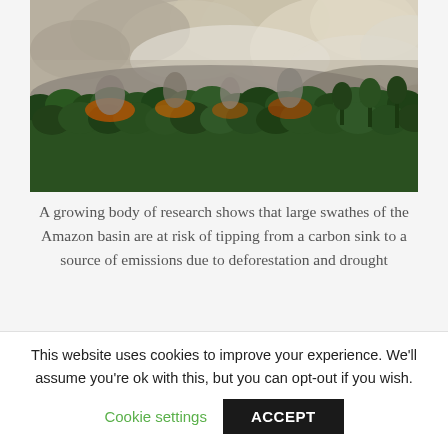[Figure (photo): Aerial photograph of Amazon rainforest burning, with large clouds of smoke billowing above the dense green tree canopy]
A growing body of research shows that large swathes of the Amazon basin are at risk of tipping from a carbon sink to a source of emissions due to deforestation and drought
© AFP/File / CARL DE SOUZA
This website uses cookies to improve your experience. We'll assume you're ok with this, but you can opt-out if you wish.